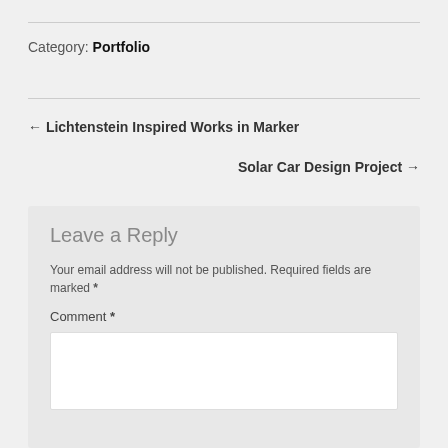Category: Portfolio
← Lichtenstein Inspired Works in Marker
Solar Car Design Project →
Leave a Reply
Your email address will not be published. Required fields are marked *
Comment *